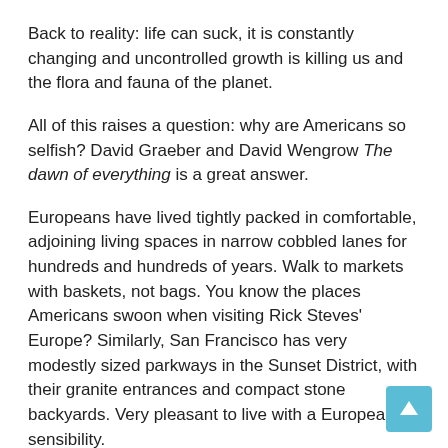Back to reality: life can suck, it is constantly changing and uncontrolled growth is killing us and the flora and fauna of the planet.
All of this raises a question: why are Americans so selfish? David Graeber and David Wengrow The dawn of everything is a great answer.
Europeans have lived tightly packed in comfortable, adjoining living spaces in narrow cobbled lanes for hundreds and hundreds of years. Walk to markets with baskets, not bags. You know the places Americans swoon when visiting Rick Steves' Europe? Similarly, San Francisco has very modestly sized parkways in the Sunset District, with their granite entrances and compact stone backyards. Very pleasant to live with a European sensibility.
Survival of the fittest has not favored intelligence, it has favored diversity; and to constantly adapt to the immediate